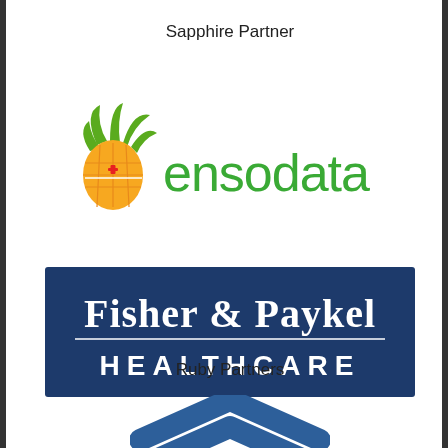Sapphire Partner
[Figure (logo): Ensodata logo: pineapple icon on left with green text 'ensodata']
[Figure (logo): Fisher & Paykel Healthcare logo: white text on dark navy blue rectangular background]
Ruby Partners
[Figure (logo): Partial logo showing two blue chevron/arrow shapes pointing upward, cropped at bottom of page]